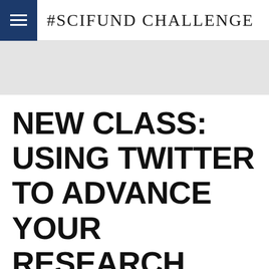#SCIFUND CHALLENGE
[Figure (photo): Gray hero banner / header image area]
NEW CLASS: USING TWITTER TO ADVANCE YOUR RESEARCH CAREER